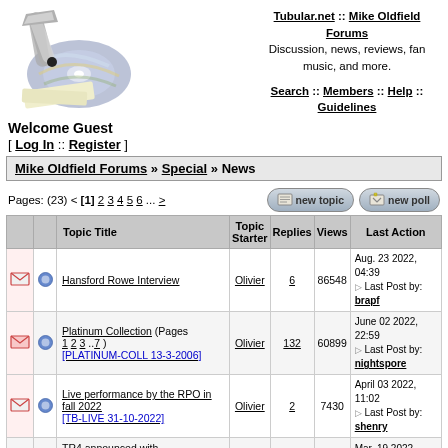[Figure (logo): Tubular.net logo with CD and tubes graphic]
Tubular.net :: Mike Oldfield Forums
Discussion, news, reviews, fan music, and more.
Search :: Members :: Help :: Guidelines
Welcome Guest
[ Log In :: Register ]
Mike Oldfield Forums » Special » News
Pages: (23) < [1] 2 3 4 5 6 ... >
|  |  | Topic Title | Topic Starter | Replies | Views | Last Action |
| --- | --- | --- | --- | --- | --- | --- |
|  |  | Hansford Rowe Interview | Olivier | 6 | 86548 | Aug. 23 2022, 04:39 ▷ Last Post by: brapf |
|  |  | Platinum Collection (Pages 1 2 3 ..7 ) [PLATINUM-COLL 13-3-2006] | Olivier | 132 | 60899 | June 02 2022, 22:59 ▷ Last Post by: nightspore |
|  |  | Live performance by the RPO in fall 2022 [TB-LIVE 31-10-2022] | Olivier | 2 | 7430 | April 03 2022, 11:02 ▷ Last Post by: shenry |
|  |  | TR4 announced with... |  |  |  | Mar. 19 2022, |